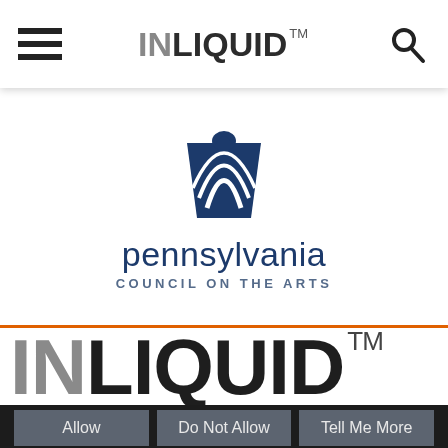[Figure (logo): InLiquid navigation bar with hamburger menu icon on left, INLIQUID™ text logo in center, and search/key icon on right. White background with drop shadow.]
[Figure (logo): Pennsylvania Council on the Arts logo: blue torch/arts icon above text 'pennsylvania' in blue and 'COUNCIL ON THE ARTS' in smaller spaced blue caps.]
[Figure (logo): Large INLIQUID™ wordmark with 'IN' in gray and 'LIQUID' in dark charcoal/black, bold sans-serif, very large size.]
InLiquid uses cookies to track and report on our site's performance. Would you like to Allow?
Allow
Do Not Allow
Tell Me More